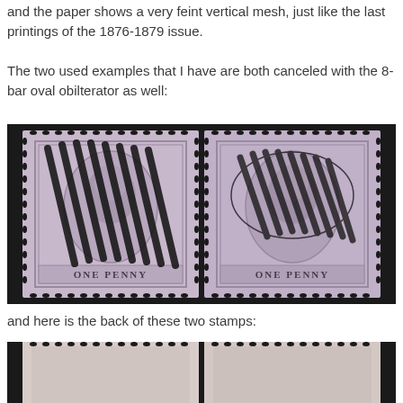and the paper shows a very feint vertical mesh, just like the last printings of the 1876-1879 issue.
The two used examples that I have are both canceled with the 8-bar oval obilterator as well:
[Figure (photo): Two used One Penny stamps with 8-bar oval obliterator cancellations, lavender/mauve color, showing Queen Victoria portrait. Both labeled ONE PENNY at the bottom.]
and here is the back of these two stamps:
[Figure (photo): Backs of the two One Penny stamps, showing reverse side with perforations visible at top.]